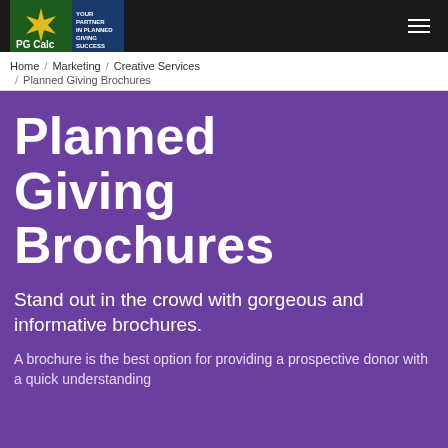PG Calc — Your Partner in Planned Giving Success
Home / Marketing / Creative Services / Planned Giving Brochures
Planned Giving Brochures
Stand out in the crowd with gorgeous and informative brochures.
A brochure is the best option for providing a prospective donor with a quick understanding